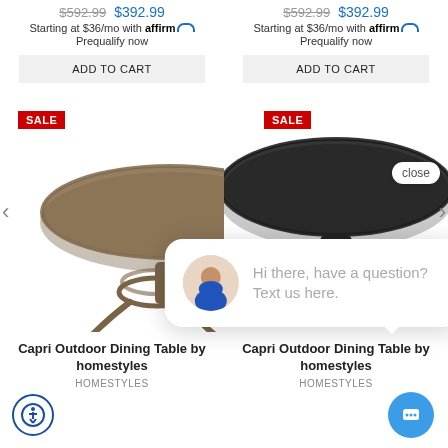$592.99  $392.99
Starting at $36/mo with affirm
Prequalify now
$592.99  $392.99
Starting at $36/mo with affirm
Prequalify now
ADD TO CART
ADD TO CART
[Figure (photo): Round decorative cast aluminum outdoor dining table in bronze/brown finish, with SALE badge]
[Figure (photo): Round decorative cast aluminum outdoor dining table in dark/black finish, with SALE badge and close button]
Hi there, have a question? Text us here.
Capri Outdoor Dining Table by homestyles
HOMESTYLES
Capri Outdoor Dining Table by homestyles
HOMESTYLES